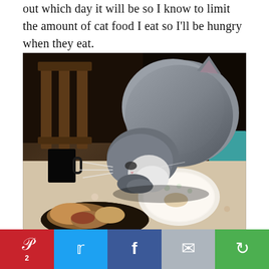out which day it will be so I know to limit the amount of cat food I eat so I'll be hungry when they eat.
[Figure (photo): A gray and white cat leaning over a dining table, sniffing at a plate of food. There is also a mug and another dish with food on the patterned tablecloth.]